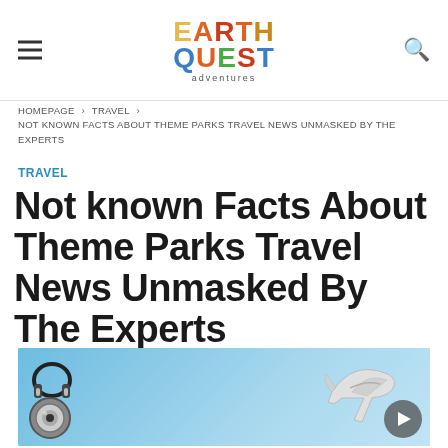EARTH QUEST adventures
HOMEPAGE › TRAVEL › NOT KNOWN FACTS ABOUT THEME PARKS TRAVEL NEWS UNMASKED BY THE EXPERTS
TRAVEL
Not known Facts About Theme Parks Travel News Unmasked By The Experts
[Figure (photo): Flat lay photo on blue background with headphones, camera lens, and toy airplane]